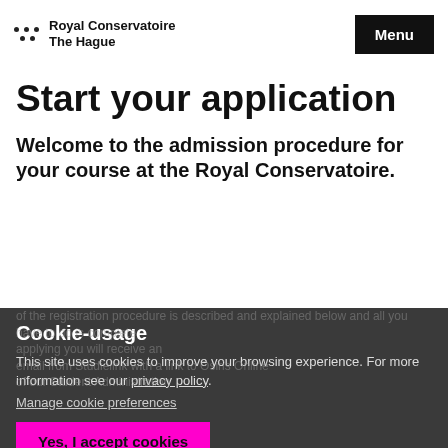Royal Conservatoire The Hague | Menu
Start your application
Welcome to the admission procedure for your course at the Royal Conservatoire.
Cookie-usage
This site uses cookies to improve your browsing experience. For more information see our privacy policy.
Manage cookie preferences
Yes, I accept cookies